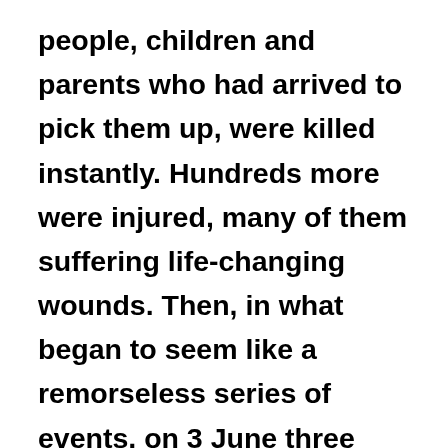people, children and parents who had arrived to pick them up, were killed instantly. Hundreds more were injured, many of them suffering life-changing wounds. Then, in what began to seem like a remorseless series of events, on 3 June three men drove a van into pedestrians crossing London Bridge. They leapt out of it and began slashing at the throats of pedestrians, appearing to be targeting